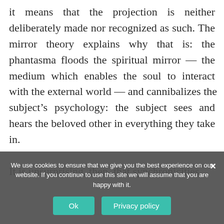it means that the projection is neither deliberately made nor recognized as such. The mirror theory explains why that is: the phantasma floods the spiritual mirror — the medium which enables the soul to interact with the external world — and cannibalizes the subject's psychology: the subject sees and hears the beloved other in everything they take in.

It is unsurprising, then, that synchronicities
We use cookies to ensure that we give you the best experience on our website. If you continue to use this site we will assume that you are happy with it.